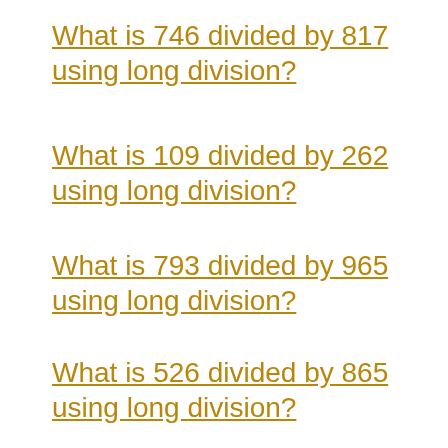What is 746 divided by 817 using long division?
What is 109 divided by 262 using long division?
What is 793 divided by 965 using long division?
What is 526 divided by 865 using long division?
What is 288 divided by 546 using long division?
What is 745 divided by 898 using long division?